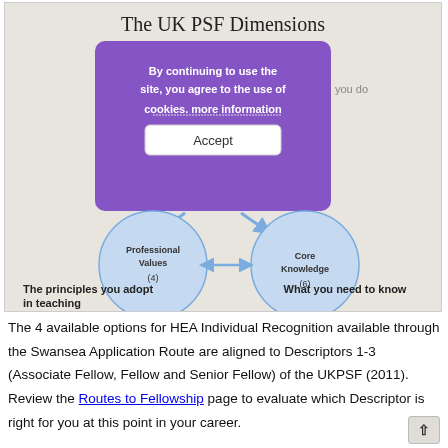[Figure (flowchart): The UK PSF Dimensions diagram showing three circles: Activities, Professional Values (4), and Core Knowledge (6), connected by arrows. A cookie consent overlay covers part of the diagram.]
The 4 available options for HEA Individual Recognition available through the Swansea Application Route are aligned to Descriptors 1-3 (Associate Fellow, Fellow and Senior Fellow) of the UKPSF (2011). Review the Routes to Fellowship page to evaluate which Descriptor is right for you at this point in your career.